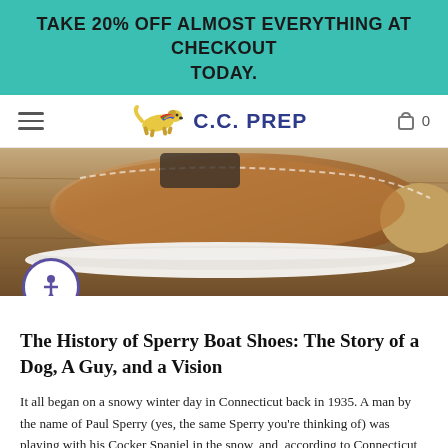TAKE 20% OFF ALMOST EVERYTHING AT CHECKOUT TODAY.
[Figure (logo): C.C. PREP brand logo with colorful running dog and navy text]
[Figure (photo): Close-up photo of a tan/brown suede Sperry boat shoe on a wooden surface, showing the white rubber sole]
The History of Sperry Boat Shoes: The Story of a Dog, A Guy, and a Vision
It all began on a snowy winter day in Connecticut back in 1935. A man by the name of Paul Sperry (yes, the same Sperry you're thinking of) was playing with his Cocker Spaniel in the snow, and, according to Connecticut historians, became infatuated with his dog's ability to run and play on ice without slipping.